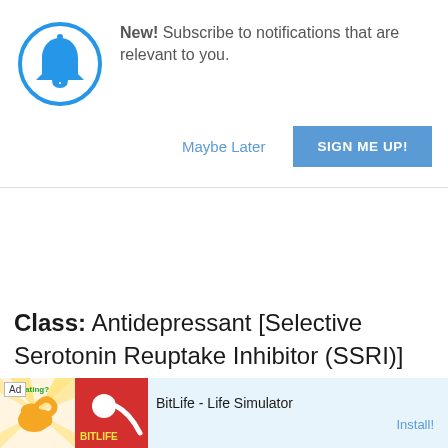[Figure (screenshot): Blue bell icon in a circle for notification subscription prompt]
New! Subscribe to notifications that are relevant to you.
Maybe Later
SIGN ME UP!
Class: Antidepressant [Selective Serotonin Reuptake Inhibitor (SSRI)]
[Figure (screenshot): BitLife - Life Simulator advertisement banner with app icon and Install button]